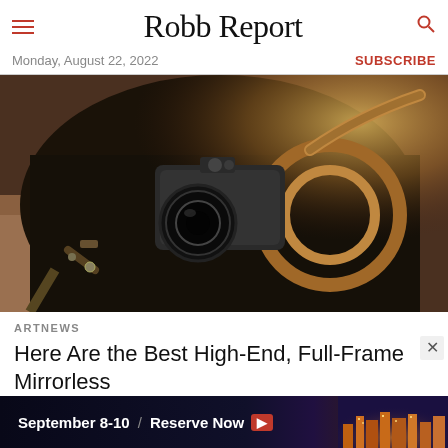Robb Report
Monday, August 22, 2022
SUBSCRIBE
[Figure (photo): A mirrorless camera with leather strap resting on a dark camera bag on a wooden surface, warm sunlight in background]
ARTNEWS
Here Are the Best High-End, Full-Frame Mirrorless Cameras for Artists
[Figure (infographic): Advertisement banner: September 8-10 / Reserve Now with arrow, city skyline background]